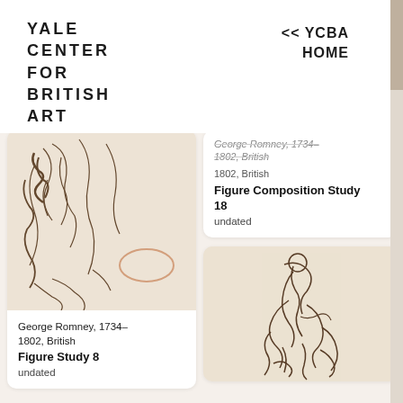YALE CENTER FOR BRITISH ART
<< YCBA HOME
[Figure (illustration): Sketch drawing of figures, Figure Study 8 by George Romney, loose pen and ink marks on cream paper]
George Romney, 1734–1802, British
Figure Study 8
undated
George Romney, 1734–1802, British
Figure Composition Study 18
undated
[Figure (illustration): Sketch drawing of a figure composition study by George Romney, loose pen and ink marks on cream paper]